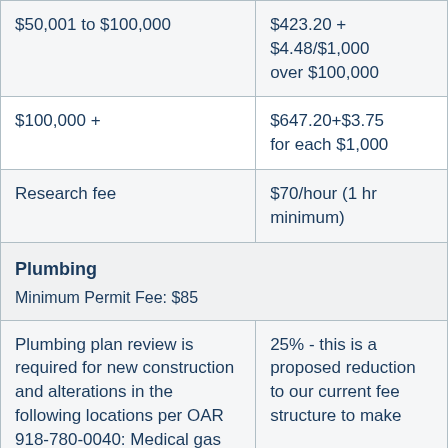| Fee Type / Range | Fee Amount |
| --- | --- |
| $50,001 to $100,000 | $423.20 + $4.48/$1,000 over $100,000 |
| $100,000 + | $647.20+$3.75 for each $1,000 |
| Research fee | $70/hour (1 hr minimum) |
| Plumbing
Minimum Permit Fee: $85 |  |
| Plumbing plan review is required for new construction and alterations in the following locations per OAR 918-780-0040: Medical gas | 25% - this is a proposed reduction to our current fee structure to make |